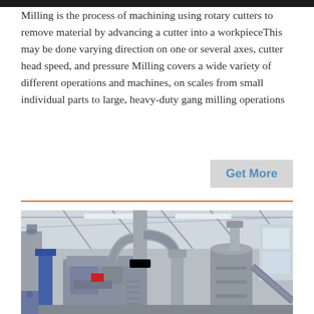Milling is the process of machining using rotary cutters to remove material by advancing a cutter into a workpieceThis may be done varying direction on one or several axes, cutter head speed, and pressure Milling covers a wide variety of different operations and machines, on scales from small individual parts to large, heavy-duty gang milling operations
Get More
[Figure (photo): Industrial milling machine equipment inside a large factory/warehouse with grey ductwork, pipes, and industrial machinery]